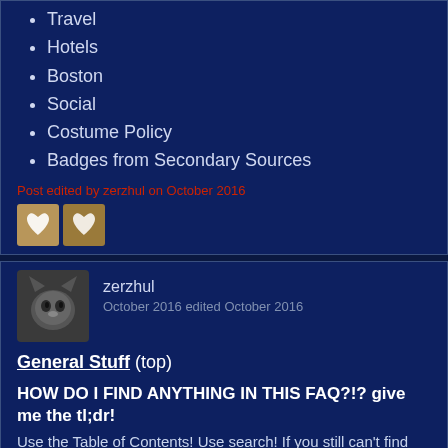Travel
Hotels
Boston
Social
Costume Policy
Badges from Secondary Sources
Post edited by zerzhul on October 2016
zerzhul
October 2016 edited October 2016
General Stuff (top)
HOW DO I FIND ANYTHING IN THIS FAQ?!? give me the tl;dr!
Use the Table of Contents! Use search! If you still can't find the answer to your question, ask it in the thread!